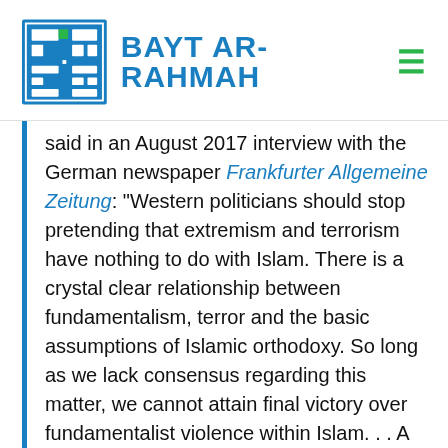[Figure (logo): Bayt Ar-Rahmah logo: blue stylized Arabic calligraphy square icon with green accent dot, followed by bold blue text 'BAYT AR-RAHMAH']
said in an August 2017 interview with the German newspaper Frankfurter Allgemeine Zeitung: “Western politicians should stop pretending that extremism and terrorism have nothing to do with Islam. There is a crystal clear relationship between fundamentalism, terror and the basic assumptions of Islamic orthodoxy. So long as we lack consensus regarding this matter, we cannot attain final victory over fundamentalist violence within Islam. . . A problem that is not